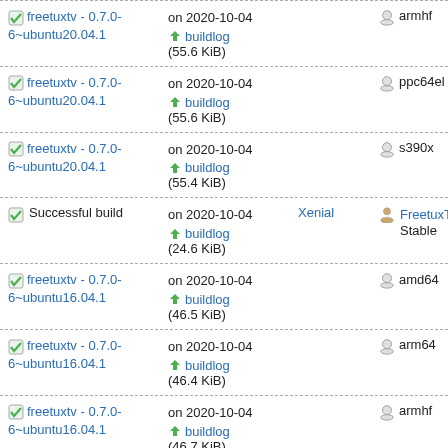freetuxtv-0.7.0-6~ubuntu20.04.1 | on 2020-10-04 buildlog (55.6 KiB) | armhf
freetuxtv-0.7.0-6~ubuntu20.04.1 | on 2020-10-04 buildlog (55.6 KiB) | ppc64el
freetuxtv-0.7.0-6~ubuntu20.04.1 | on 2020-10-04 buildlog (55.4 KiB) | s390x
Successful build | on 2020-10-04 buildlog (24.6 KiB) | Xenial | FreetuxTV Stable
freetuxtv-0.7.0-6~ubuntu16.04.1 | on 2020-10-04 buildlog (46.5 KiB) | amd64
freetuxtv-0.7.0-6~ubuntu16.04.1 | on 2020-10-04 buildlog (46.4 KiB) | arm64
freetuxtv-0.7.0-6~ubuntu16.04.1 | on 2020-10-04 buildlog (46.7 KiB) | armhf
freetuxtv- | on 2020-10-04 | i386